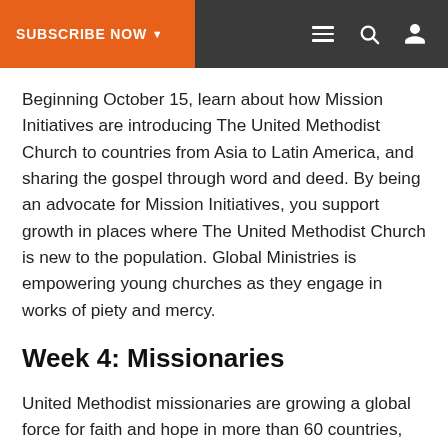SUBSCRIBE NOW ▾
Beginning October 15, learn about how Mission Initiatives are introducing The United Methodist Church to countries from Asia to Latin America, and sharing the gospel through word and deed. By being an advocate for Mission Initiatives, you support growth in places where The United Methodist Church is new to the population. Global Ministries is empowering young churches as they engage in works of piety and mercy.
Week 4: Missionaries
United Methodist missionaries are growing a global force for faith and hope in more than 60 countries, including the US. The week of October 22 tells the